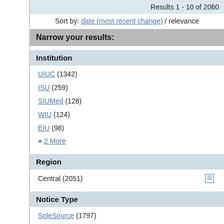Results 1 - 10 of 2060
Sort by: date (most recent change) / relevance
Narrow your results:
Institution
UIUC (1342)
ISU (259)
SIUMed (128)
WIU (124)
EIU (98)
+ 2 More
Region
Central (2051)
Notice Type
SoleSource (1797)
QBS (84)